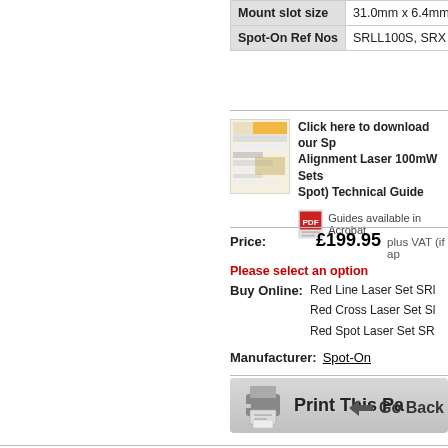|  |  |
| --- | --- |
| Mount slot size | 31.0mm x 6.4mm |
| Spot-On Ref Nos | SRLL100S, SRX |
[Figure (illustration): Thumbnail image of a technical guide document and a PDF icon with text saying 'Guides available in Acrobat']
Click here to download our Spot-On Alignment Laser 100mW Sets (incl. Spot) Technical Guide
Guides available in Acrobat
Price: £199.95 plus VAT (if applicable)
Please select an option
Buy Online: Red Line Laser Set SR | Red Cross Laser Set S | Red Spot Laser Set SR
Manufacturer: Spot-On
Print This Page
Go Back